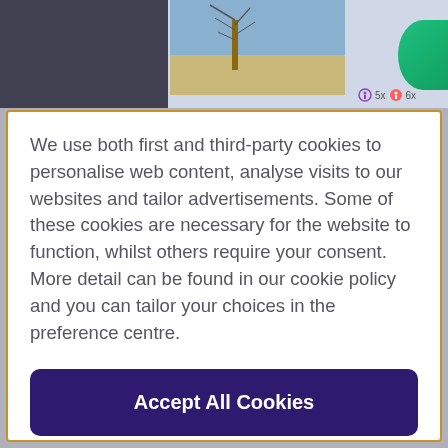[Figure (screenshot): Top portion of a webpage visible behind a cookie consent modal. Shows a winter photograph with a snow-covered scene and a tree, some navigation icons with '5x' and '6x' labels visible, and partial colored elements.]
We use both first and third-party cookies to personalise web content, analyse visits to our websites and tailor advertisements. Some of these cookies are necessary for the website to function, whilst others require your consent. More detail can be found in our cookie policy and you can tailor your choices in the preference centre.
Accept All Cookies
Cookies Settings